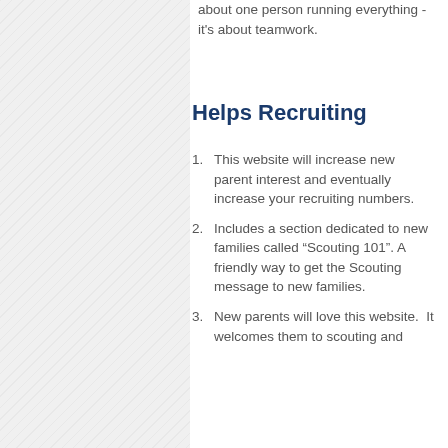about one person running everything - it's about teamwork.
Helps Recruiting
This website will increase new parent interest and eventually increase your recruiting numbers.
Includes a section dedicated to new families called “Scouting 101”. A friendly way to get the Scouting message to new families.
New parents will love this website.  It welcomes them to scouting and